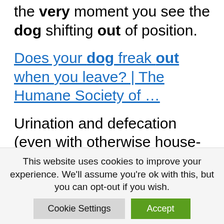the very moment you see the dog shifting out of position.
Does your dog freak out when you leave? | The Humane Society of …
Urination and defecation (even with otherwise house-trained dogs). What causes separation anxiety. It's not fully understood why some dogs suffer from …
TRAINING BOOK
This website uses cookies to improve your experience. We'll assume you're ok with this, but you can opt-out if you wish.